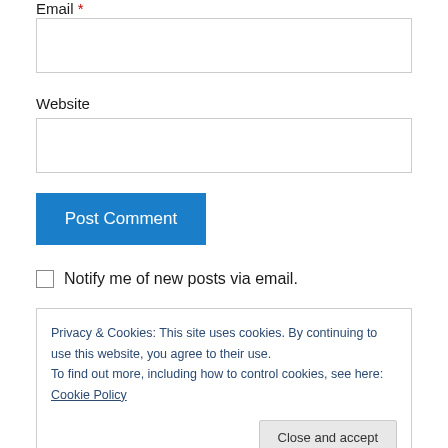Email *
Website
Post Comment
Notify me of new posts via email.
Privacy & Cookies: This site uses cookies. By continuing to use this website, you agree to their use.
To find out more, including how to control cookies, see here: Cookie Policy
Close and accept